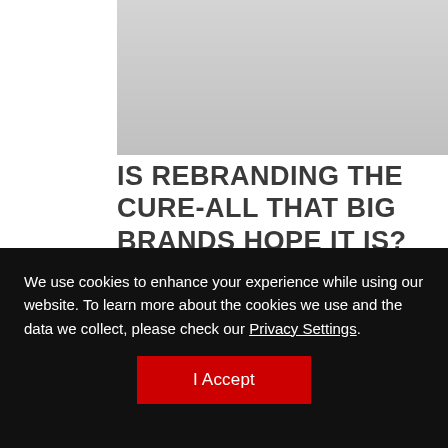[Figure (photo): Gray rectangle placeholder image at top of article]
IS REBRANDING THE CURE-ALL THAT BIG BRANDS HOPE IT IS?
There has been a seemingly never-ending number of major rebrands
We use cookies to enhance your experience while using our website. To learn more about the cookies we use and the data we collect, please check our Privacy Settings.
I Accept